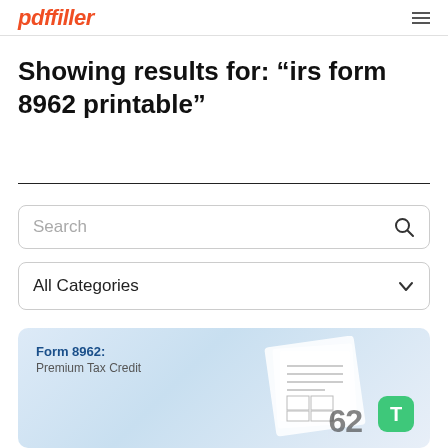pdffiller
Showing results for: “irs form 8962 printable”
Search
All Categories
[Figure (screenshot): Form 8962: Premium Tax Credit card with a document image and green T badge]